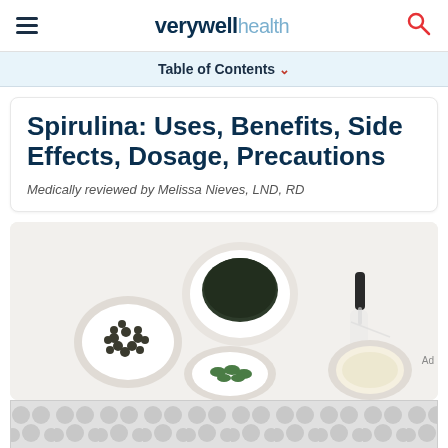verywell health
Table of Contents
Spirulina: Uses, Benefits, Side Effects, Dosage, Precautions
Medically reviewed by Melissa Nieves, LND, RD
[Figure (photo): Overhead flat-lay photo of various spirulina supplement forms: a small white bowl of dark green spirulina powder, a small white bowl of spirulina tablets/pills, a small bowl of green capsules, a dropper bottle, and a small bowl of light-colored liquid/oil, all arranged on a white background.]
[Figure (other): Advertisement banner with grey circle/bubble pattern.]